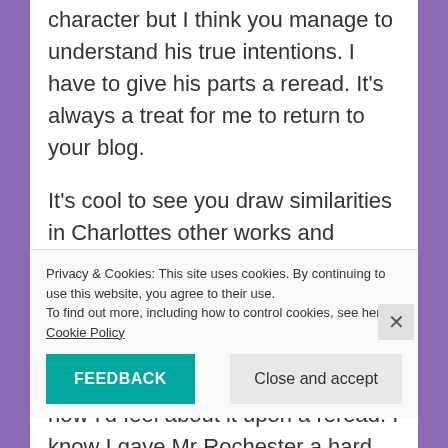character but I think you manage to understand his true intentions. I have to give his parts a reread. It's always a treat for me to return to your blog.
It's cool to see you draw similarities in Charlottes other works and characters.
I haven't read Jane Eyre again, just little bits and pieces that I like to revisit from time to time. I wonder how I'd feel about it upon a reread. I know I gave Mr Rochester a hard time
Privacy & Cookies: This site uses cookies. By continuing to use this website, you agree to their use.
To find out more, including how to control cookies, see here: Cookie Policy